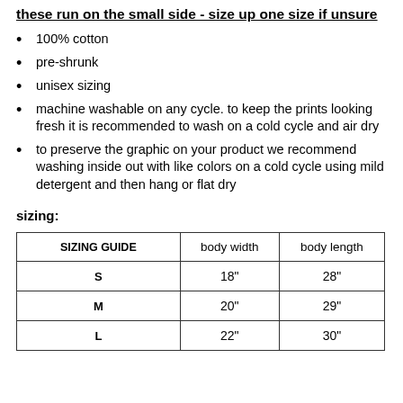these run on the small side - size up one size if unsure
100% cotton
pre-shrunk
unisex sizing
machine washable on any cycle. to keep the prints looking fresh it is recommended to wash on a cold cycle and air dry
to preserve the graphic on your product we recommend washing inside out with like colors on a cold cycle using mild detergent and then hang or flat dry
sizing:
| SIZING GUIDE | body width | body length |
| --- | --- | --- |
| S | 18" | 28" |
| M | 20" | 29" |
| L | 22" | 30" |